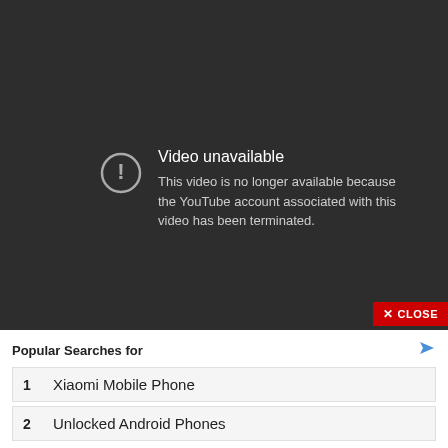[Figure (screenshot): YouTube video unavailable screen with dark background, circle exclamation icon, and error message saying 'Video unavailable - This video is no longer available because the YouTube account associated with this video has been terminated.' A red CLOSE button is in the bottom right.]
Popular Searches for
1   Xiaomi Mobile Phone
2   Unlocked Android Phones
Yahoo! Search | Sponsored